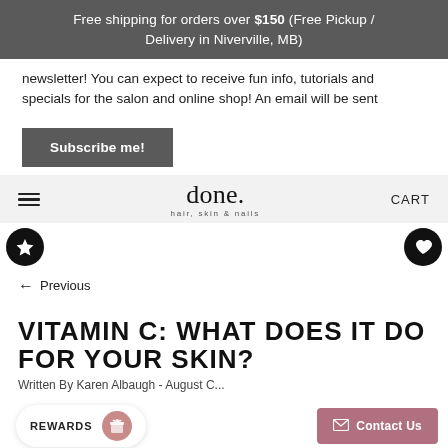Free shipping for orders over $150 (Free Pickup / Delivery in Niverville, MB)
newsletter! You can expect to receive fun info, tutorials and specials for the salon and online shop! An email will be sent
Subscribe me!
done. hair, skin & nails  CART
← Previous
VITAMIN C: WHAT DOES IT DO FOR YOUR SKIN?
Written By Karen Albaugh - August C...
REWARDS  Contact Us